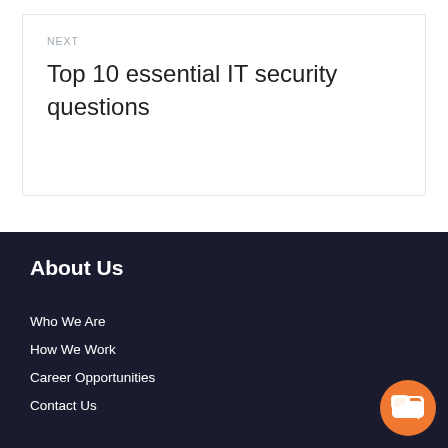NEXT
Top 10 essential IT security questions
About Us
Who We Are
How We Work
Career Opportunities
Contact Us
[Figure (illustration): Orange chat bubble icon button in the bottom right corner]